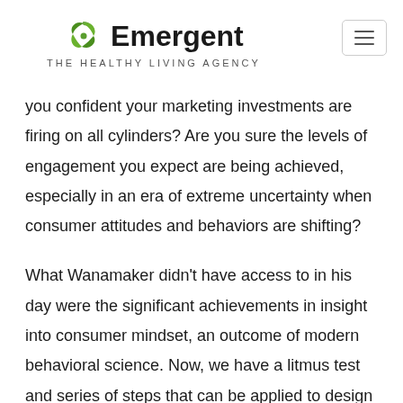Emergent — THE HEALTHY LIVING AGENCY
you confident your marketing investments are firing on all cylinders? Are you sure the levels of engagement you expect are being achieved, especially in an era of extreme uncertainty when consumer attitudes and behaviors are shifting?
What Wanamaker didn't have access to in his day were the significant achievements in insight into consumer mindset, an outcome of modern behavioral science. Now, we have a litmus test and series of steps that can be applied to design marketing programs that